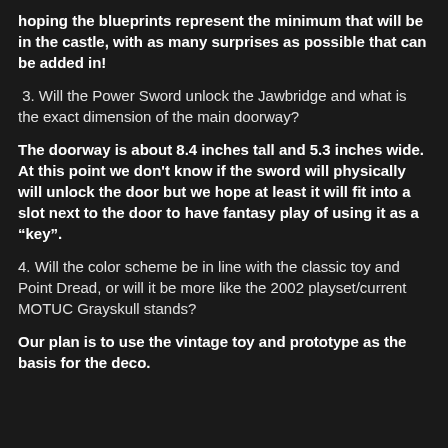hoping the blueprints represent the minimum that will be in the castle, with as many surprises as possible that can be added in!
3. Will the Power Sword unlock the Jawbridge and what is the exact dimension of the main doorway?
The doorway is about 8.4 inches tall and 5.3 inches wide. At this point we don't know if the sword will physically will unlock the door but we hope at least it will fit into a slot next to the door to have fantasy play of using it as a "key".
4. Will the color scheme be in line with the classic toy and Point Dread, or will it be more like the 2002 playset/current MOTUC Grayskull stands?
Our plan is to use the vintage toy and prototype as the basis for the deco.